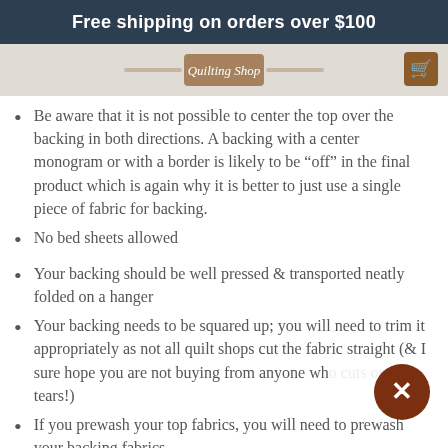Free shipping on orders over $100
[Figure (logo): Website logo/banner image strip]
Be aware that it is not possible to center the top over the backing in both directions. A backing with a center monogram or with a border is likely to be “off” in the final product which is again why it is better to just use a single piece of fabric for backing.
No bed sheets allowed
Your backing should be well pressed & transported neatly folded on a hanger
Your backing needs to be squared up; you will need to trim it appropriately as not all quilt shops cut the fabric straight (& I sure hope you are not buying from anyone who tears!)
If you prewash your top fabrics, you will need to prewash your backing fabrics